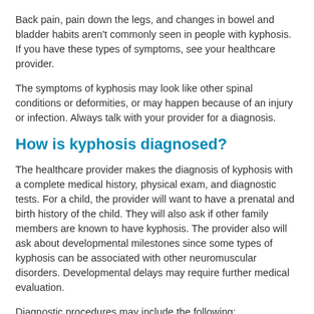Back pain, pain down the legs, and changes in bowel and bladder habits aren't commonly seen in people with kyphosis. If you have these types of symptoms, see your healthcare provider.
The symptoms of kyphosis may look like other spinal conditions or deformities, or may happen because of an injury or infection. Always talk with your provider for a diagnosis.
How is kyphosis diagnosed?
The healthcare provider makes the diagnosis of kyphosis with a complete medical history, physical exam, and diagnostic tests. For a child, the provider will want to have a prenatal and birth history of the child. They will also ask if other family members are known to have kyphosis. The provider also will ask about developmental milestones since some types of kyphosis can be associated with other neuromuscular disorders. Developmental delays may require further medical evaluation.
Diagnostic procedures may include the following:
Blood tests